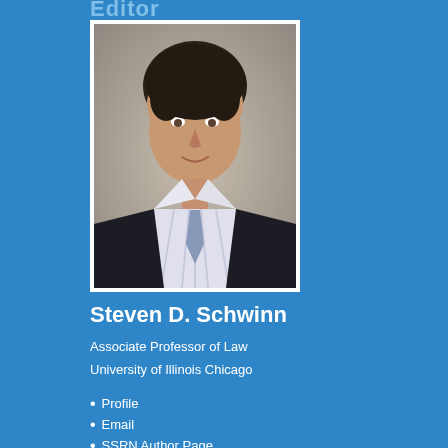Editor
[Figure (photo): Professional headshot of Steven D. Schwinn, a man in a dark pinstripe suit with a light blue tie and striped dress shirt, photographed against a gray background.]
Steven D. Schwinn
Associate Professor of Law
University of Illinois Chicago
Profile
Email
SSRN Author Page